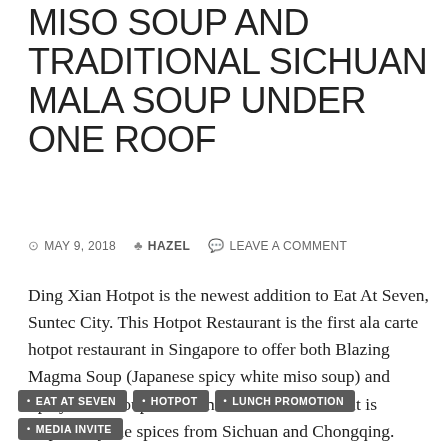MISO SOUP AND TRADITIONAL SICHUAN MALA SOUP UNDER ONE ROOF
MAY 9, 2018   HAZEL   LEAVE A COMMENT
Ding Xian Hotpot is the newest addition to Eat At Seven, Suntec City. This Hotpot Restaurant is the first ala carte hotpot restaurant in Singapore to offer both Blazing Magma Soup (Japanese spicy white miso soup) and Spicy Mala Soup under one roof.The restaurant is inspired by the spices from Sichuan and Chongqing. Thanks for the invite. I got the opportunity to check it out last week. Continue reading →
EAT AT SEVEN
HOTPOT
LUNCH PROMOTION
MEDIA INVITE